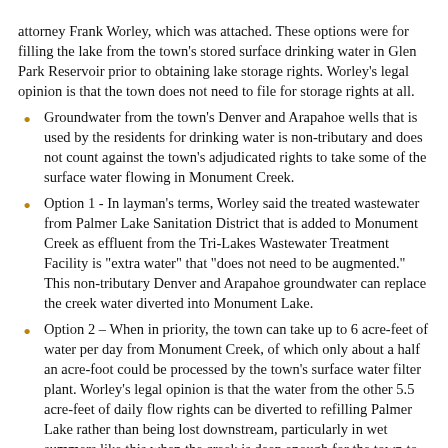attorney Frank Worley, which was attached. These options were for filling the lake from the town's stored surface drinking water in Glen Park Reservoir prior to obtaining lake storage rights. Worley's legal opinion is that the town does not need to file for storage rights at all.
Groundwater from the town's Denver and Arapahoe wells that is used by the residents for drinking water is non-tributary and does not count against the town's adjudicated rights to take some of the surface water flowing in Monument Creek.
Option 1 - In layman's terms, Worley said the treated wastewater from Palmer Lake Sanitation District that is added to Monument Creek as effluent from the Tri-Lakes Wastewater Treatment Facility is "extra water" that "does not need to be augmented." This non-tributary Denver and Arapahoe groundwater can replace the creek water diverted into Monument Lake.
Option 2 – When in priority, the town can take up to 6 acre-feet of water per day from Monument Creek, of which only about a half an acre-foot could be processed by the town's surface water filter plant. Worley's legal opinion is that the water from the other 5.5 acre-feet of daily flow rights can be diverted to refilling Palmer Lake rather than being lost downstream, particularly in wet summers like this when the creek is deep enough for the town to be in priority for taking some of this surface water nearly every day of the year.